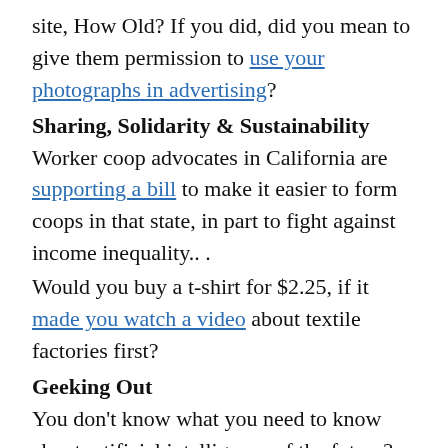site, How Old? If you did, did you mean to give them permission to use your photographs in advertising?
Sharing, Solidarity & Sustainability
Worker coop advocates in California are supporting a bill to make it easier to form coops in that state, in part to fight against income inequality...
Would you buy a t-shirt for $2.25, if it made you watch a video about textile factories first?
Geeking Out
You don't know what you need to know about artificial intelligence of the future? Read this. Amazing.
The slow death of the one-hour photo processing lab.